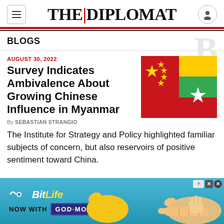THE|DIPLOMAT
BLOGS
AUGUST 30, 2022
Survey Indicates Ambivalence About Growing Chinese Influence in Myanmar
[Figure (photo): Composite image of Chinese flag and Myanmar flag side by side diagonally]
By SEBASTIAN STRANGIO
The Institute for Strategy and Policy highlighted familiar subjects of concern, but also reservoirs of positive sentiment toward China.
[Figure (infographic): BitLife advertisement banner: BitLife NOW WITH GOD MODE promotional ad on blue background with cartoon hand graphics]